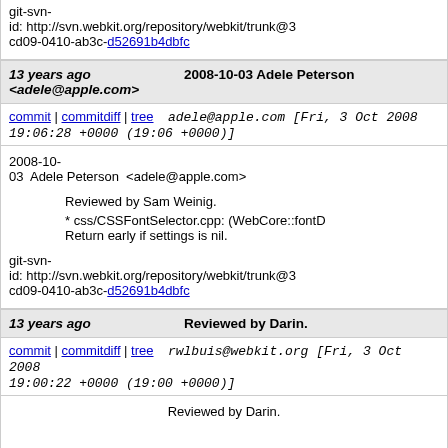git-svn-id: http://svn.webkit.org/repository/webkit/trunk@3 cd09-0410-ab3c-d52691b4dbfc
13 years ago <adele@apple.com>	2008-10-03 Adele Peterson
commit | commitdiff | tree   adele@apple.com [Fri, 3 Oct 2008 19:06:28 +0000 (19:06 +0000)]
2008-10-03 Adele Peterson <adele@apple.com>

Reviewed by Sam Weinig.

* css/CSSFontSelector.cpp: (WebCore::fontD Return early if settings is nil.

git-svn-id: http://svn.webkit.org/repository/webkit/trunk@3 cd09-0410-ab3c-d52691b4dbfc
13 years ago	Reviewed by Darin.
commit | commitdiff | tree   rwlbuis@webkit.org [Fri, 3 Oct 2008 19:00:22 +0000 (19:00 +0000)]
Reviewed by Darin.